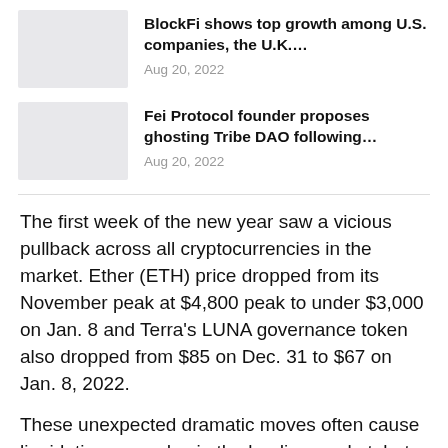BlockFi shows top growth among U.S. companies, the U.K.... Aug 20, 2022
Fei Protocol founder proposes ghosting Tribe DAO following... Aug 20, 2022
The first week of the new year saw a vicious pullback across all cryptocurrencies in the market. Ether (ETH) price dropped from its November peak at $4,800 peak to under $3,000 on Jan. 8 and Terra's LUNA governance token also dropped from $85 on Dec. 31 to $67 on Jan. 8, 2022.
These unexpected dramatic moves often cause liquidation cascades in the lending market, but they also create unique buying opportunities in the